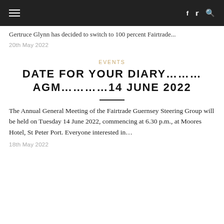☰   f  twitter  🔍
Gertruce Glynn has decided to switch to 100 percent Fairtrade...
20th May 2022
EVENTS
DATE FOR YOUR DIARY......... AGM...........14 JUNE 2022
The Annual General Meeting of the Fairtrade Guernsey Steering Group will be held on Tuesday 14 June 2022, commencing at 6.30 p.m., at Moores Hotel, St Peter Port. Everyone interested in...
18th May 2022